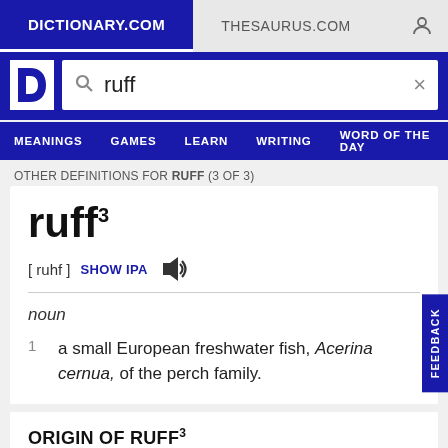DICTIONARY.COM   THESAURUS.COM
ruff (search query)
MEANINGS   GAMES   LEARN   WRITING   WORD OF THE DAY
OTHER DEFINITIONS FOR RUFF (3 OF 3)
ruff³
[ ruhf ]  SHOW IPA
noun
1  a small European freshwater fish, Acerina cernua, of the perch family.
ORIGIN OF RUFF³